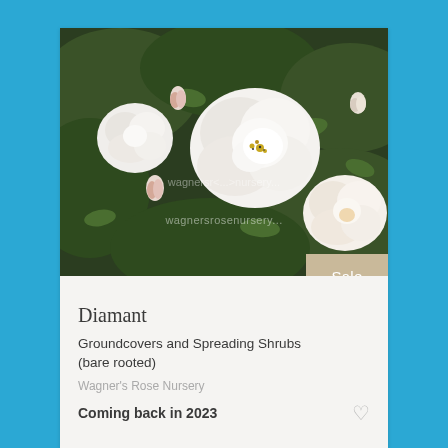[Figure (photo): Close-up photograph of white roses in bloom with pink rosebuds and dark green foliage, watermarked 'wagnersr...nursery...']
Sale
Diamant
Groundcovers and Spreading Shrubs (bare rooted)
Wagner's Rose Nursery
Coming back in 2023